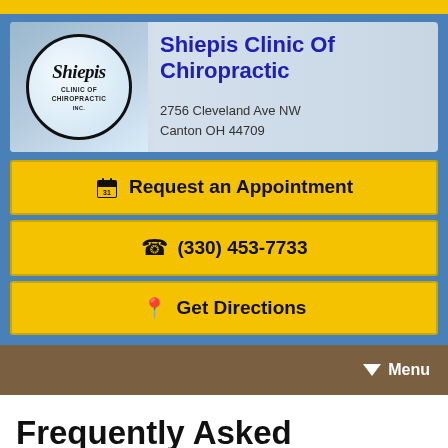[Figure (logo): Shiepis Clinic of Chiropractic logo — circular badge with clinic name and address on a blue/gray gradient banner]
Request an Appointment
(330) 453-7733
Get Directions
Menu
Frequently Asked Questions